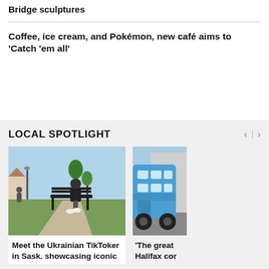Bridge sculptures
Coffee, ice cream, and Pokémon, new café aims to 'Catch 'em all'
LOCAL SPOTLIGHT
[Figure (photo): Person sitting on a bench in a park using a phone]
Meet the Ukrainian TikToker in Sask. showcasing iconic
[Figure (photo): A blue double-decker bus on a street]
'The great Halifax cor